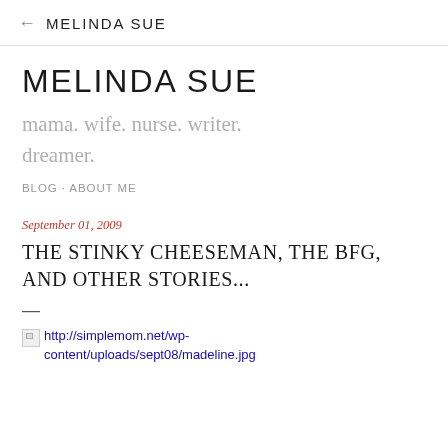← MELINDA SUE
MELINDA SUE
mama. wife. nurse. writer. dreamer.
BLOG · ABOUT ME
September 01, 2009
THE STINKY CHEESEMAN, THE BFG, AND OTHER STORIES...
—
[Figure (other): Broken image placeholder with URL: http://simplemom.net/wp-content/uploads/sept08/madeline.jpg]